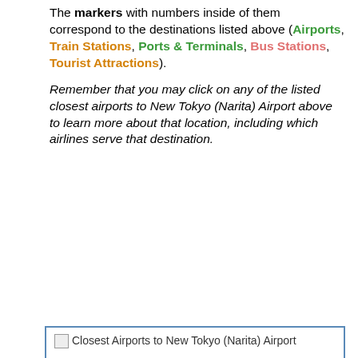The markers with numbers inside of them correspond to the destinations listed above (Airports, Train Stations, Ports & Terminals, Bus Stations, Tourist Attractions).
Remember that you may click on any of the listed closest airports to New Tokyo (Narita) Airport above to learn more about that location, including which airlines serve that destination.
[Figure (map): Map showing Closest Airports to New Tokyo (Narita) Airport. The map area appears as a white box with a broken image placeholder and the alt text 'Closest Airports to New Tokyo (Narita) Airport'.]